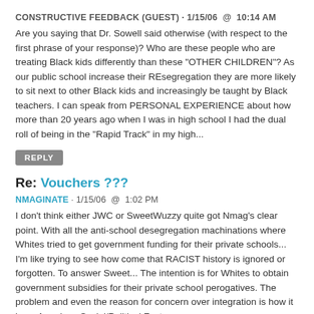CONSTRUCTIVE FEEDBACK (GUEST) · 1/15/06  @  10:14 AM
Are you saying that Dr. Sowell said otherwise (with respect to the first phrase of your response)? Who are these people who are treating Black kids differently than these "OTHER CHILDREN"? As our public school increase their REsegregation they are more likely to sit next to other Black kids and increasingly be taught by Black teachers. I can speak from PERSONAL EXPERIENCE about how more than 20 years ago when I was in high school I had the dual roll of being in the "Rapid Track" in my high...
REPLY
Re: Vouchers ???
NMAGINATE · 1/15/06  @  1:02 PM
I don't think either JWC or SweetWuzzy quite got Nmag's clear point. With all the anti-school desegregation machinations where Whites tried to get government funding for their private schools... I'm like trying to see how come that RACIST history is ignored or forgotten. To answer Sweet... The intention is for Whites to obtain government subsidies for their private school perogatives. The problem and even the reason for concern over integration is how it is an American Social/Political Fact...
REPLY